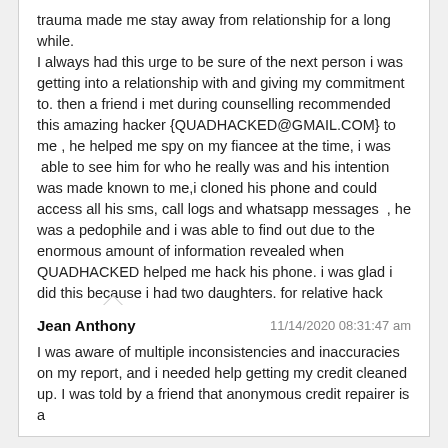trauma made me stay away from relationship for a long while. I always had this urge to be sure of the next person i was getting into a relationship with and giving my commitment to. then a friend i met during counselling recommended this amazing hacker {QUADHACKED@GMAIL.COM} to me , he helped me spy on my fiancee at the time, i was able to see him for who he really was and his intention was made known to me,i cloned his phone and could access all his sms, call logs and whatsapp messages , he was a pedophile and i was able to find out due to the enormous amount of information revealed when QUADHACKED helped me hack his phone. i was glad i did this because i had two daughters. for relative hack jobs,Phone hacking, hacking of whatsapp, facebook messenger, email hacks, phone spy, phone wire tap, phone clone reach out to him i promise you'll be glad .
REPLY
Jean Anthony  11/14/2020 08:31:47 am
I was aware of multiple inconsistencies and inaccuracies on my report, and i needed help getting my credit cleaned up. I was told by a friend that anonymous credit repairer is a